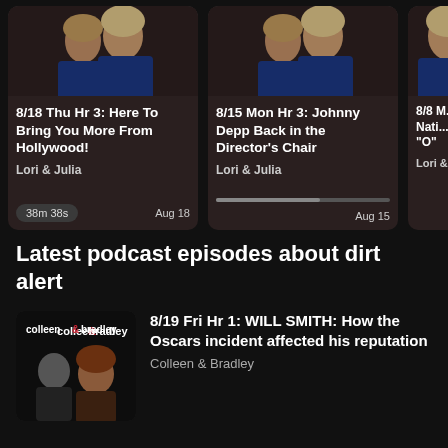[Figure (screenshot): Podcast episode card: 8/18 Thu Hr 3: Here To Bring You More From Hollywood! — Lori & Julia — 38m 38s — Aug 18]
[Figure (screenshot): Podcast episode card: 8/15 Mon Hr 3: Johnny Depp Back in the Director's Chair — Lori & Julia — Aug 15]
[Figure (screenshot): Podcast episode card (partially visible): 8/8 ... Nati... "O" — Lori & ...]
Latest podcast episodes about dirt alert
[Figure (screenshot): Podcast episode thumbnail for colleen & bradley show]
8/19 Fri Hr 1: WILL SMITH: How the Oscars incident affected his reputation
Colleen & Bradley